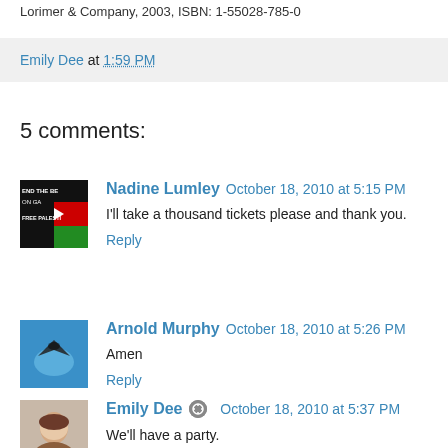Lorimer & Company, 2003, ISBN: 1-55028-785-0
Emily Dee at 1:59 PM
5 comments:
Nadine Lumley  October 18, 2010 at 5:15 PM
I'll take a thousand tickets please and thank you.
Reply
Arnold Murphy  October 18, 2010 at 5:26 PM
Amen
Reply
Emily Dee  October 18, 2010 at 5:37 PM
We'll have a party.